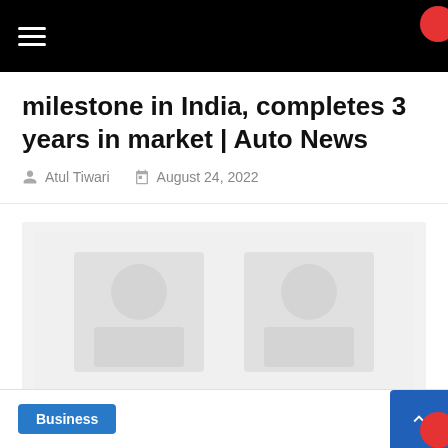Navigation bar with hamburger menu
milestone in India, completes 3 years in market | Auto News
Atul Tiwari   August 24, 2022
[Figure (photo): Large image placeholder area with faint watermark/ghost image]
Business